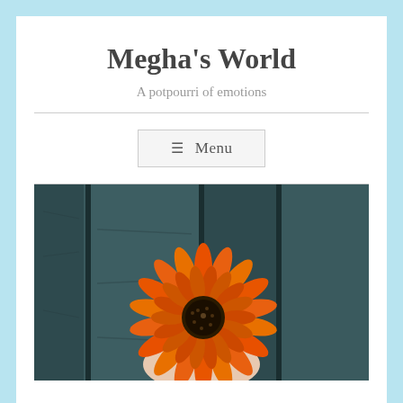Megha's World
A potpourri of emotions
☰ Menu
[Figure (photo): A hand holding an orange gerbera daisy flower against a dark teal weathered wood plank background]